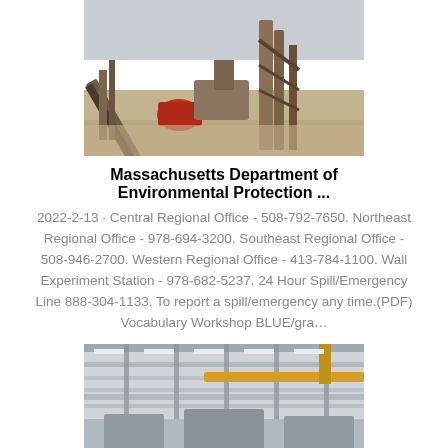[Figure (photo): Outdoor industrial mining/quarry equipment with conveyor belts and metal structures, dusty environment]
Massachusetts Department of Environmental Protection ...
2022-2-13 · Central Regional Office - 508-792-7650. Northeast Regional Office - 978-694-3200. Southeast Regional Office - 508-946-2700. Western Regional Office - 413-784-1100. Wall Experiment Station - 978-682-5237. 24 Hour Spill/Emergency Line 888-304-1133. To report a spill/emergency any time.(PDF) Vocabulary Workshop BLUE/gra…
[Figure (photo): Indoor industrial facility with overhead cranes and steel framework under a large roof structure]